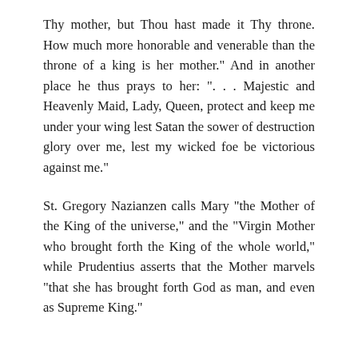Thy mother, but Thou hast made it Thy throne. How much more honorable and venerable than the throne of a king is her mother." And in another place he thus prays to her: ". . . Majestic and Heavenly Maid, Lady, Queen, protect and keep me under your wing lest Satan the sower of destruction glory over me, lest my wicked foe be victorious against me."
St. Gregory Nazianzen calls Mary "the Mother of the King of the universe," and the "Virgin Mother who brought forth the King of the whole world," while Prudentius asserts that the Mother marvels "that she has brought forth God as man, and even as Supreme King."